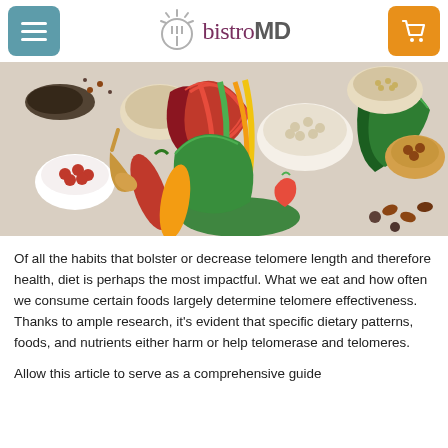bistroMD
[Figure (photo): Overhead flat-lay photo of various healthy foods including leafy greens (chard, kale), bowls of legumes, nuts, berries, spices, peppers, and other superfoods arranged on a white wooden surface.]
Of all the habits that bolster or decrease telomere length and therefore health, diet is perhaps the most impactful. What we eat and how often we consume certain foods largely determine telomere effectiveness. Thanks to ample research, it's evident that specific dietary patterns, foods, and nutrients either harm or help telomerase and telomeres.
Allow this article to serve as a comprehensive guide